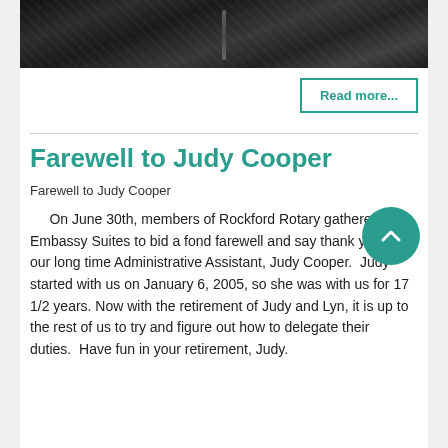[Figure (photo): Close-up photograph of a person wearing a dark leather jacket with zipper detail, cropped to show the jacket/chest area only.]
Read more...
Farewell to Judy Cooper
Farewell to Judy Cooper
On June 30th, members of Rockford Rotary gathered at Embassy Suites to bid a fond farewell and say thank you to our long time Administrative Assistant, Judy Cooper.  Judy started with us on January 6, 2005, so she was with us for 17 1/2 years. Now with the retirement of Judy and Lyn, it is up to the rest of us to try and figure out how to delegate their duties. Have fun in your retirement, Judy.